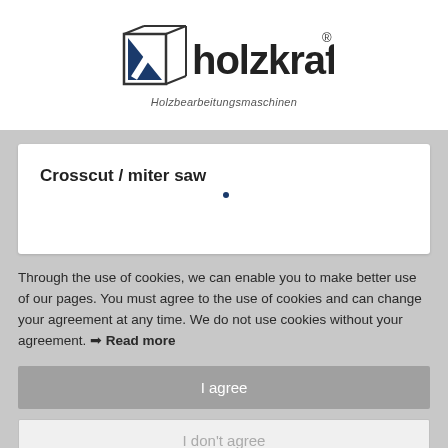[Figure (logo): Holzkraft logo with geometric mark and text 'holzkraft' with registered trademark, subtitle 'Holzbearbeitungsmaschinen']
Crosscut / miter saw
Through the use of cookies, we can enable you to make better use of our pages. You must agree to the use of cookies and can change your agreement at any time. We do not use cookies without your agreement. ➤ Read more
I agree
I don't agree